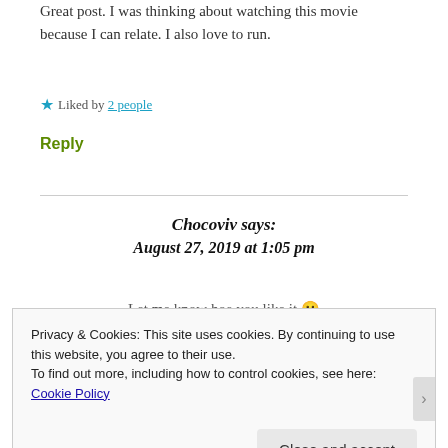Great post. I was thinking about watching this movie because I can relate. I also love to run.
★ Liked by 2 people
Reply
Chocoviv says:
August 27, 2019 at 1:05 pm
Let me know hoe you like it 🙂
Privacy & Cookies: This site uses cookies. By continuing to use this website, you agree to their use.
To find out more, including how to control cookies, see here: Cookie Policy
Close and accept